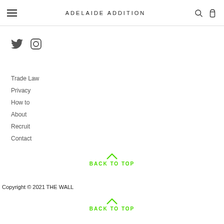ADELAIDE ADDITION
[Figure (other): Twitter and Instagram social media icons]
Trade Law
Privacy
How to
About
Recruit
Contact
BACK TO TOP
Copyright © 2021  THE WALL
BACK TO TOP